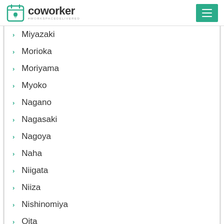coworker — #WORKSPACEDELIVERED
Miyazaki
Morioka
Moriyama
Myoko
Nagano
Nagasaki
Nagoya
Naha
Niigata
Niiza
Nishinomiya
Oita
Okayama
Okinawa
Osaka